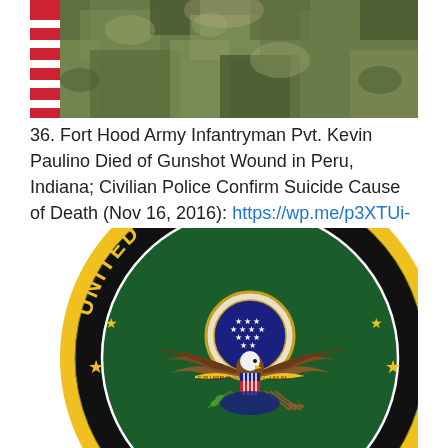[Figure (photo): Partial photo of a soldier in camouflage uniform with an American flag visible in the background, cropped to show torso/shoulders.]
36. Fort Hood Army Infantryman Pvt. Kevin Paulino Died of Gunshot Wound in Peru, Indiana; Civilian Police Confirm Suicide Cause of Death (Nov 16, 2016): https://wp.me/p3XTUi-5eN
[Figure (logo): United States Army seal/emblem — circular seal with yellow outer ring, black band with 'UNITED STATES' text in gold letters with gold stars, dark green inner field, central eagle with spread wings holding shield and olive branch/arrows, E Pluribus Unum banner, constellation of stars above.]